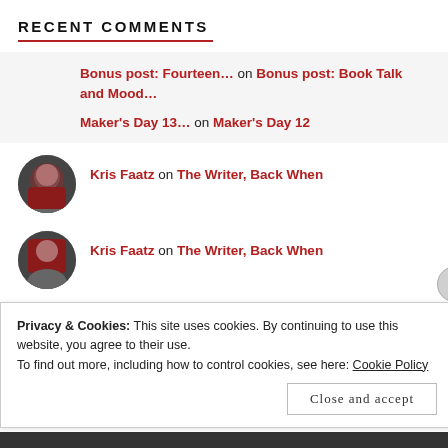RECENT COMMENTS
Bonus post: Fourteen… on Bonus post: Book Talk and Mood…
Maker's Day 13… on Maker's Day 12
Kris Faatz on The Writer, Back When
Kris Faatz on The Writer, Back When
ezwryder@gmail.com on The Writer, Back When
Privacy & Cookies: This site uses cookies. By continuing to use this website, you agree to their use.
To find out more, including how to control cookies, see here: Cookie Policy
Close and accept